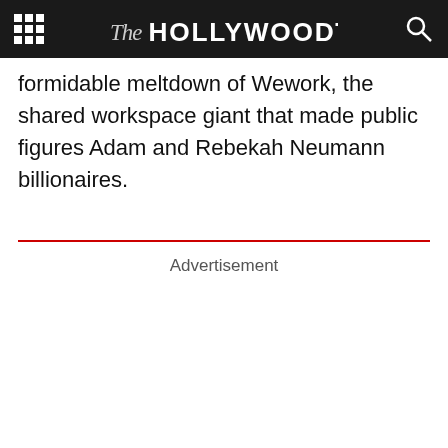The Hollywood Times
formidable meltdown of Wework, the shared workspace giant that made public figures Adam and Rebekah Neumann billionaires.
Advertisement